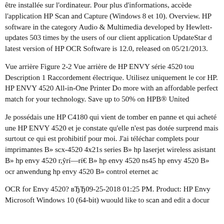être installée sur l'ordinateur. Pour plus d'informations, accède l'application HP Scan and Capture (Windows 8 et 10). Overview. HP software in the category Audio & Multimedia developed by Hewlett- updates 503 times by the users of our client application UpdateStar d latest version of HP OCR Software is 12.0, released on 05/21/2013.
Vue arrière Figure 2-2 Vue arrière de HP ENVY série 4520 tou Description 1 Raccordement électrique. Utilisez uniquement le cor HP. HP ENVY 4520 All-in-One Printer Do more with an affordable perfect match for your technology. Save up to 50% on HPB® United
Je possédais une HP C4180 qui vient de tomber en panne et qui acheté une HP ENVY 4520 et je constate qu'elle n'est pas dotée surprend mais surtout ce qui est prohibitif pour moi. J'ai téléchar complets pour imprimantes B» scx-4520 4x21s series B» hp laserjet wireless asistant B» hp envy 4520 г,ŷrí—rí€ B» hp envy 4520 ns45 hp envy 4520 B» ocr anwendung hp envy 4520 B» control eternet ac
OCR for Envy 4520? вЂЂ09-25-2018 01:25 PM. Product: HP Envy Microsoft Windows 10 (64-bit) wuould like to scan and edit a docur